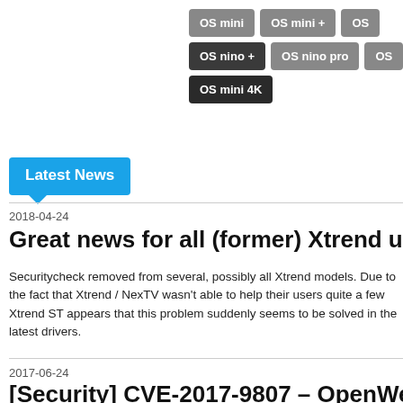[Figure (screenshot): Navigation buttons: OS mini, OS mini +, OS (cut off), OS nino +, OS nino pro, OS (cut off), OS mini 4K]
Latest News
2018-04-24
Great news for all (former) Xtrend users. Securityc…
Securitycheck removed from several, possibly all Xtrend models. Due to the fact that Xtrend / NexTV wasn't able to help their users quite a few Xtrend ST appears that this problem suddenly seems to be solved in the latest drivers.
2017-06-24
[Security] CVE-2017-9807 – OpenWebIf Vulnerab…